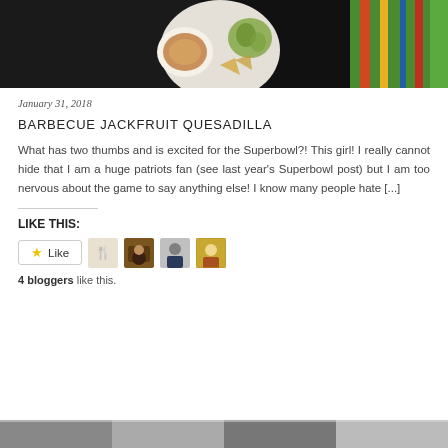[Figure (photo): Top portion of a food blog post photo showing a white plate with artichoke and quesadilla with a dipping sauce bowl, on a dark background with colorful napkin]
January 31, 2018
BARBECUE JACKFRUIT QUESADILLA
What has two thumbs and is excited for the Superbowl?! This girl! I really cannot hide that I am a huge patriots fan (see last year's Superbowl post) but I am too nervous about the game to say anything else! I know many people hate [...]
LIKE THIS:
[Figure (screenshot): Like button widget with star icon and 4 blogger avatar thumbnails]
4 bloggers like this.
[Figure (photo): Bottom strip of another food blog post photo]